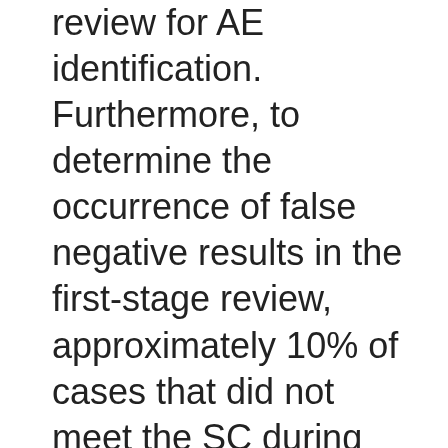review for AE identification. Furthermore, to determine the occurrence of false negative results in the first-stage review, approximately 10% of cases that did not meet the SC during the first-stage review were randomly selected and included in the second-stage review. Two physician reviewers also independently reviewed